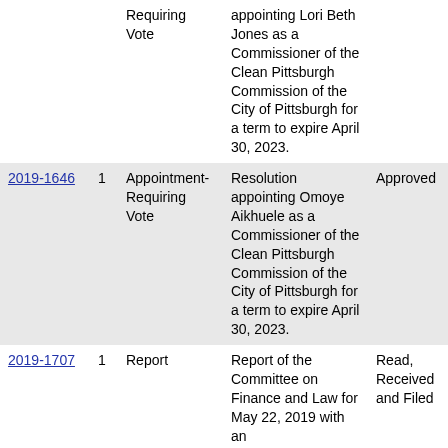| File # | Ver | Agenda Note Type | Name | Action |
| --- | --- | --- | --- | --- |
|  |  | Requiring Vote | appointing Lori Beth Jones as a Commissioner of the Clean Pittsburgh Commission of the City of Pittsburgh for a term to expire April 30, 2023. |  |
| 2019-1646 | 1 | Appointment-Requiring Vote | Resolution appointing Omoye Aikhuele as a Commissioner of the Clean Pittsburgh Commission of the City of Pittsburgh for a term to expire April 30, 2023. | Approved |
| 2019-1707 | 1 | Report | Report of the Committee on Finance and Law for May 22, 2019 with an | Read, Received and Filed |